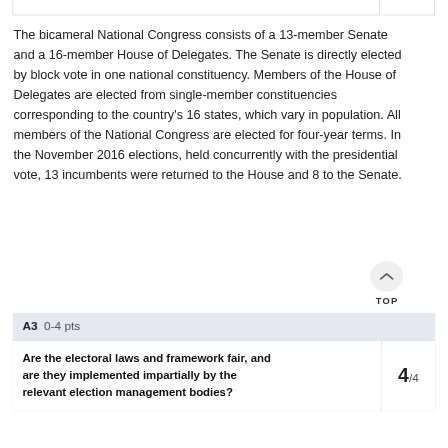The bicameral National Congress consists of a 13-member Senate and a 16-member House of Delegates. The Senate is directly elected by block vote in one national constituency. Members of the House of Delegates are elected from single-member constituencies corresponding to the country's 16 states, which vary in population. All members of the National Congress are elected for four-year terms. In the November 2016 elections, held concurrently with the presidential vote, 13 incumbents were returned to the House and 8 to the Senate.
| A3  0-4 pts |  |
| --- | --- |
| Are the electoral laws and framework fair, and are they implemented impartially by the relevant election management bodies? | 4/4 |